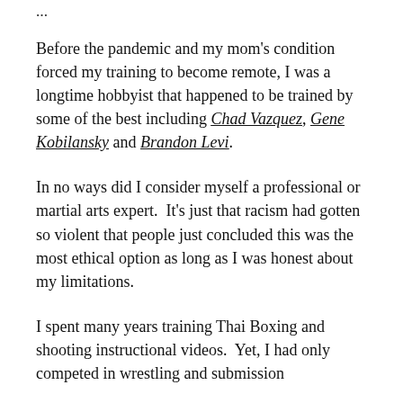…[truncated header text]…
Before the pandemic and my mom's condition forced my training to become remote, I was a longtime hobbyist that happened to be trained by some of the best including Chad Vazquez, Gene Kobilansky and Brandon Levi.
In no ways did I consider myself a professional or martial arts expert.  It's just that racism had gotten so violent that people just concluded this was the most ethical option as long as I was honest about my limitations.
I spent many years training Thai Boxing and shooting instructional videos.  Yet, I had only competed in wrestling and submission